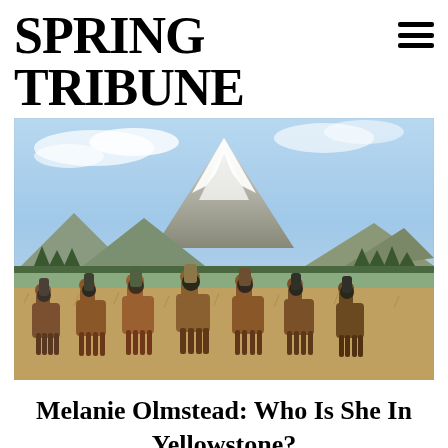SPRING TRIBUNE
[Figure (photo): Seven men on horseback lined up in a grassy field with a large snow-capped mountain peak in the background. The riders wear western/cowboy attire including hats. The landscape features green hills, trees, and golden grass — a scene from the TV show Yellowstone.]
Melanie Olmstead: Who Is She In Yellowstone?